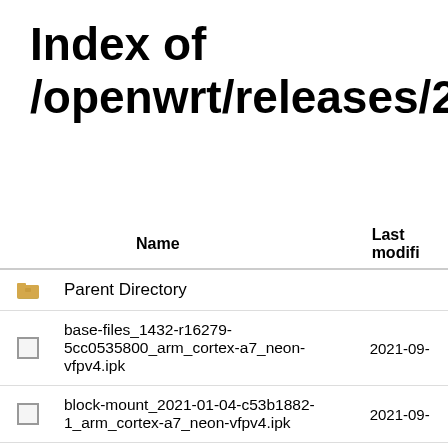Index of /openwrt/releases/21.02.0/ta
| Name | Last modified |
| --- | --- |
| Parent Directory |  |
| base-files_1432-r16279-5cc0535800_arm_cortex-a7_neon-vfpv4.ipk | 2021-09- |
| block-mount_2021-01-04-c53b1882-1_arm_cortex-a7_neon-vfpv4.ipk | 2021-09- |
| blockd_2021-01-04-c53b1882-1_arm_cortex-a7_neon-vfpv4.ipk | 2021-09- |
| comgt-directip_0.32-33_arm_cortex-a7_neon-vfpv4.ipk | 2021-09- |